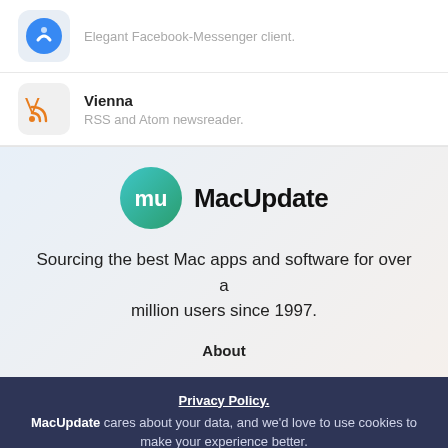Elegant Facebook-Messenger client.
Vienna — RSS and Atom newsreader.
[Figure (logo): MacUpdate logo — teal circular icon with white 'mu' letters, followed by bold text 'MacUpdate']
Sourcing the best Mac apps and software for over a million users since 1997.
About
Privacy Policy. MacUpdate cares about your data, and we'd love to use cookies to make your experience better.
OK